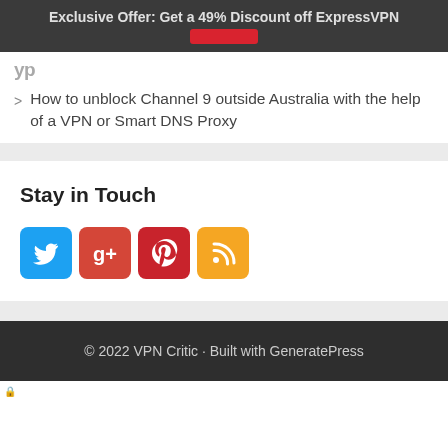Exclusive Offer: Get a 49% Discount off ExpressVPN
How to unblock Channel 9 outside Australia with the help of a VPN or Smart DNS Proxy
Stay in Touch
[Figure (infographic): Four social media icon buttons: Twitter (blue bird), Google+ (red g+), Pinterest (red P), RSS (orange RSS symbol)]
© 2022 VPN Critic • Built with GeneratePress